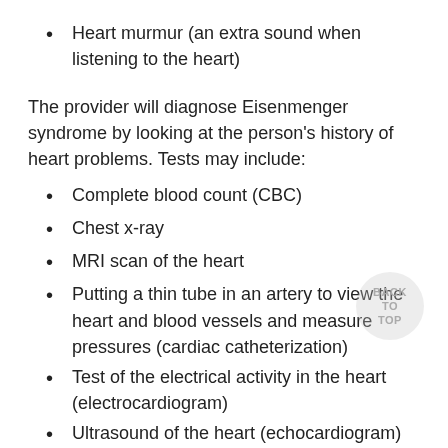Heart murmur (an extra sound when listening to the heart)
The provider will diagnose Eisenmenger syndrome by looking at the person's history of heart problems. Tests may include:
Complete blood count (CBC)
Chest x-ray
MRI scan of the heart
Putting a thin tube in an artery to view the heart and blood vessels and measure pressures (cardiac catheterization)
Test of the electrical activity in the heart (electrocardiogram)
Ultrasound of the heart (echocardiogram)
The number of cases of this condition in the United States